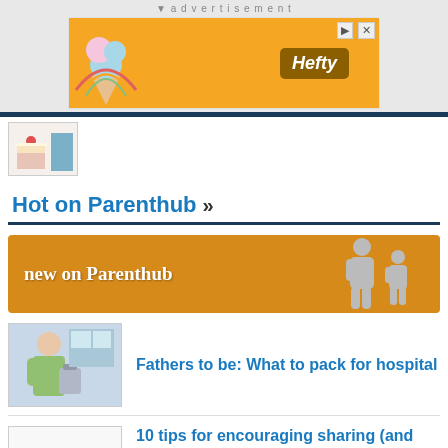[Figure (screenshot): Advertisement banner area with 'advertisement' label and orange Hefty brand banner]
[Figure (photo): Partial thumbnail of a cake/food image at the top left]
Hot on Parenthub »
[Figure (illustration): Orange banner reading 'new on Parenthub' with silhouette icons of adult and child]
[Figure (photo): Photo of a man (father-to-be) packing a bag]
Fathers to be: What to pack for hospital
[Figure (illustration): Illustration of colorful paper chain people figures]
10 tips for encouraging sharing (and discouraging self-interest) this Christmas